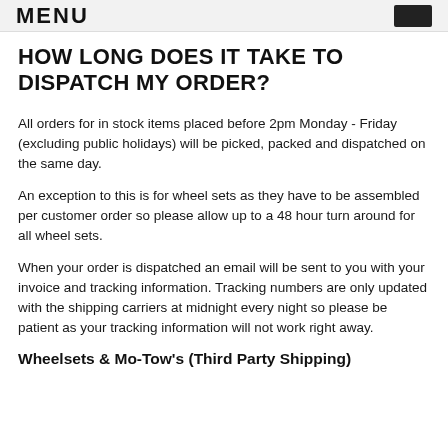MENU
HOW LONG DOES IT TAKE TO DISPATCH MY ORDER?
All orders for in stock items placed before 2pm Monday - Friday (excluding public holidays) will be picked, packed and dispatched on the same day.
An exception to this is for wheel sets as they have to be assembled per customer order so please allow up to a 48 hour turn around for all wheel sets.
When your order is dispatched an email will be sent to you with your invoice and tracking information. Tracking numbers are only updated with the shipping carriers at midnight every night so please be patient as your tracking information will not work right away.
Wheelsets & Mo-Tow's (Third Party Shipping)